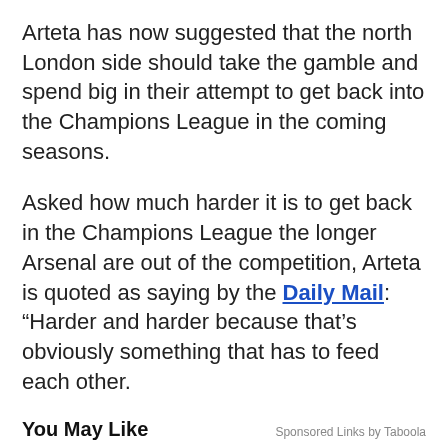Arteta has now suggested that the north London side should take the gamble and spend big in their attempt to get back into the Champions League in the coming seasons.
Asked how much harder it is to get back in the Champions League the longer Arsenal are out of the competition, Arteta is quoted as saying by the Daily Mail: “Harder and harder because that’s obviously something that has to feed each other.
You May Like
Sponsored Links by Taboola
[Figure (photo): Two sponsored content images: left shows a brain illustration with a hand holding something, right shows a red backpack/bag on a white background.]